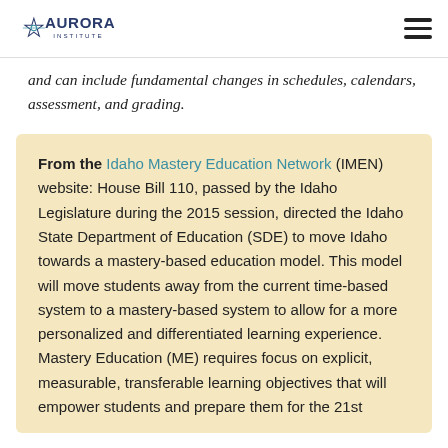Aurora Institute
and can include fundamental changes in schedules, calendars, assessment, and grading.
From the Idaho Mastery Education Network (IMEN) website: House Bill 110, passed by the Idaho Legislature during the 2015 session, directed the Idaho State Department of Education (SDE) to move Idaho towards a mastery-based education model. This model will move students away from the current time-based system to a mastery-based system to allow for a more personalized and differentiated learning experience. Mastery Education (ME) requires focus on explicit, measurable, transferable learning objectives that will empower students and prepare them for the 21st